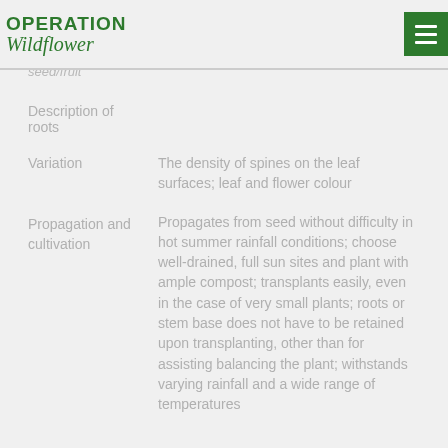OPERATION Wildflower
seed/fruit
Description of roots
Variation	The density of spines on the leaf surfaces; leaf and flower colour
Propagation and cultivation	Propagates from seed without difficulty in hot summer rainfall conditions; choose well-drained, full sun sites and plant with ample compost; transplants easily, even in the case of very small plants; roots or stem base does not have to be retained upon transplanting, other than for assisting balancing the plant; withstands varying rainfall and a wide range of temperatures